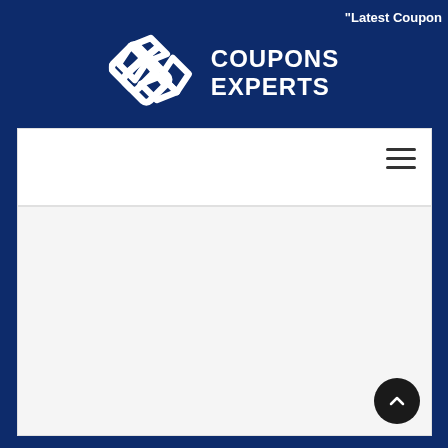"Latest Coupon
[Figure (logo): Coupons Experts logo with interconnected diamond/chain link icon in white, followed by bold white text reading COUPONS EXPERTS on dark navy blue background]
[Figure (other): Hamburger menu icon (three horizontal lines) on white navigation bar]